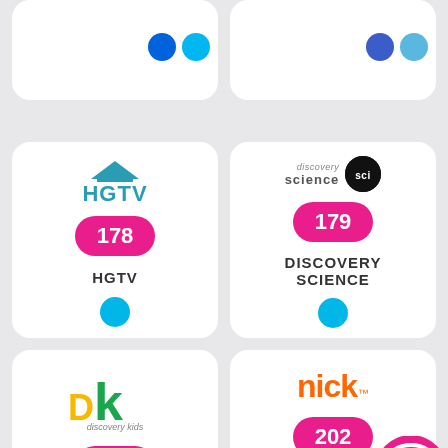[Figure (logo): Flickr logo — two colored dots (blue and cyan)]
[Figure (logo): Flickr logo — two colored dots (blue and cyan), lighter variant]
[Figure (logo): HGTV channel card: HGTV logo, channel number 178, channel name HGTV, cyan circle button]
[Figure (logo): Discovery Science channel card: Discovery Science logo, channel number 179, channel name DISCOVERY SCIENCE, cyan circle button]
[Figure (logo): Discovery Kids channel card: Discovery Kids logo, channel number 201]
[Figure (logo): Nickelodeon channel card: Nick logo, channel number 202, channel name NICKELODEON, speech bubble overlay]